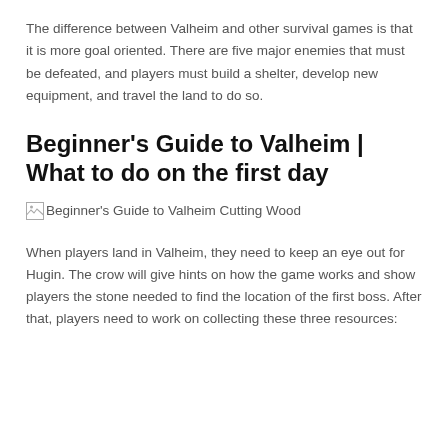The difference between Valheim and other survival games is that it is more goal oriented. There are five major enemies that must be defeated, and players must build a shelter, develop new equipment, and travel the land to do so.
Beginner's Guide to Valheim | What to do on the first day
[Figure (photo): Broken image placeholder with alt text: Beginner's Guide to Valheim Cutting Wood]
When players land in Valheim, they need to keep an eye out for Hugin. The crow will give hints on how the game works and show players the stone needed to find the location of the first boss. After that, players need to work on collecting these three resources: